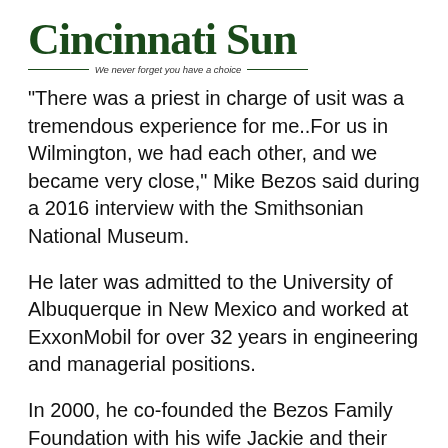Cincinnati Sun — We never forget you have a choice
"There was a priest in charge of usit was a tremendous experience for me..For us in Wilmington, we had each other, and we became very close," Mike Bezos said during a 2016 interview with the Smithsonian National Museum.
He later was admitted to the University of Albuquerque in New Mexico and worked at ExxonMobil for over 32 years in engineering and managerial positions.
In 2000, he co-founded the Bezos Family Foundation with his wife Jackie and their children to support the education of children.
Mike Bezos was honored at the Statue of Liberty - Ellis Island... and this... and his son Jeff...